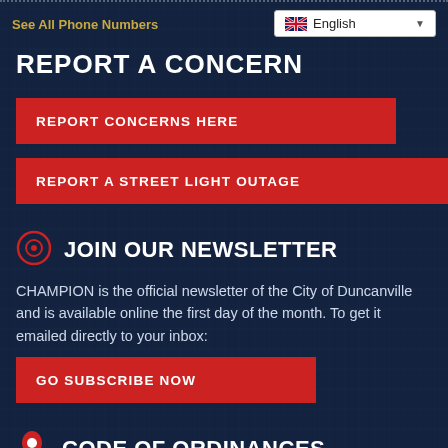See All Phone Numbers
REPORT A CONCERN
REPORT CONCERNS HERE
REPORT A STREET LIGHT OUTAGE
JOIN OUR NEWSLETTER
CHAMPION is the official newsletter of the City of Duncanville and is available online the first day of the month. To get it emailed directly to your inbox:
GO SUBSCRIBE NOW
CODE OF ORDINANCES